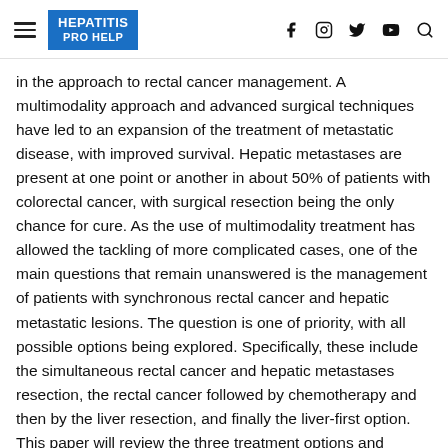HEPATITIS PRO HELP
in the approach to rectal cancer management. A multimodality approach and advanced surgical techniques have led to an expansion of the treatment of metastatic disease, with improved survival. Hepatic metastases are present at one point or another in about 50% of patients with colorectal cancer, with surgical resection being the only chance for cure. As the use of multimodality treatment has allowed the tackling of more complicated cases, one of the main questions that remain unanswered is the management of patients with synchronous rectal cancer and hepatic metastatic lesions. The question is one of priority, with all possible options being explored. Specifically, these include the simultaneous rectal cancer and hepatic metastases resection, the rectal cancer followed by chemotherapy and then by the liver resection, and finally the liver-first option. This paper will review the three treatment options and attempt to dissect the indications for each. In addition, the role of laparoscopy in the synchronous resection of rectal